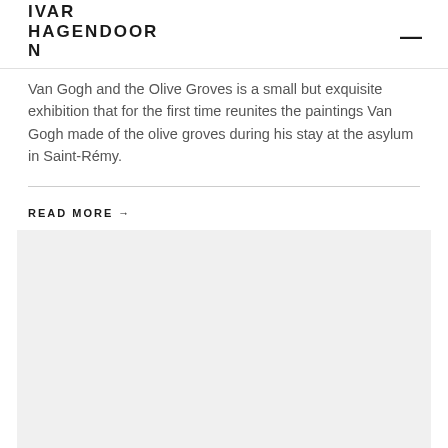IVAR HAGENDOORN
Van Gogh and the Olive Groves is a small but exquisite exhibition that for the first time reunites the paintings Van Gogh made of the olive groves during his stay at the asylum in Saint-Rémy.
READ MORE →
[Figure (photo): Large light gray rectangular placeholder image block]